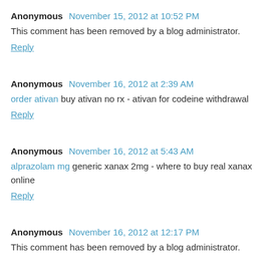Anonymous November 15, 2012 at 10:52 PM
This comment has been removed by a blog administrator.
Reply
Anonymous November 16, 2012 at 2:39 AM
order ativan buy ativan no rx - ativan for codeine withdrawal
Reply
Anonymous November 16, 2012 at 5:43 AM
alprazolam mg generic xanax 2mg - where to buy real xanax online
Reply
Anonymous November 16, 2012 at 12:17 PM
This comment has been removed by a blog administrator.